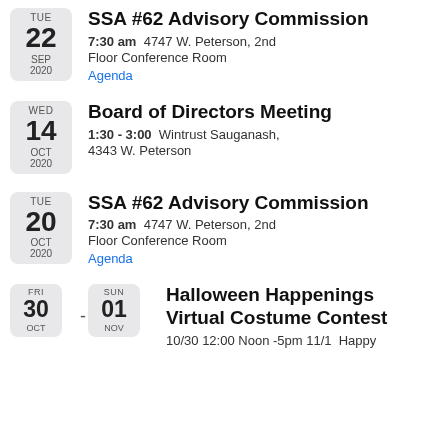TUE 22 SEP 2020 — SSA #62 Advisory Commission — 7:30 am 4747 W. Peterson, 2nd Floor Conference Room — Agenda
WED 14 OCT 2020 — Board of Directors Meeting — 1:30 - 3:00 Wintrust Sauganash, 4343 W. Peterson
TUE 20 OCT 2020 — SSA #62 Advisory Commission — 7:30 am 4747 W. Peterson, 2nd Floor Conference Room — Agenda
FRI 30 OCT - SUN 01 NOV — Halloween Happenings Virtual Costume Contest — 10/30 12:00 Noon -5pm 11/1 Happy